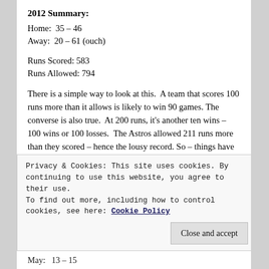2012 Summary:
Home:  35 – 46
Away:  20 – 61 (ouch)
Runs Scored: 583
Runs Allowed: 794
There is a simple way to look at this.  A team that scores 100 runs more than it allows is likely to win 90 games.  The converse is also true.  At 200 runs, it’s another ten wins – 100 wins or 100 losses.  The Astros allowed 211 runs more than they scored – hence the lousy record.  So – things have to be looking up, right?
Privacy & Cookies: This site uses cookies. By continuing to use this website, you agree to their use.
To find out more, including how to control cookies, see here: Cookie Policy
May:   13 – 15